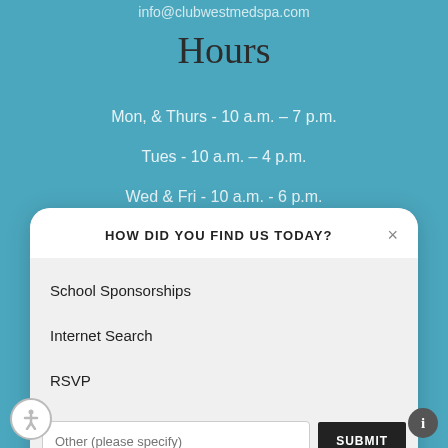info@clubwestmedspa.com
Hours
Mon, & Thurs - 10 a.m. – 7 p.m.
Tues - 10 a.m. – 4 p.m.
Wed & Fri - 10 a.m. - 6 p.m.
HOW DID YOU FIND US TODAY?
School Sponsorships
Internet Search
RSVP